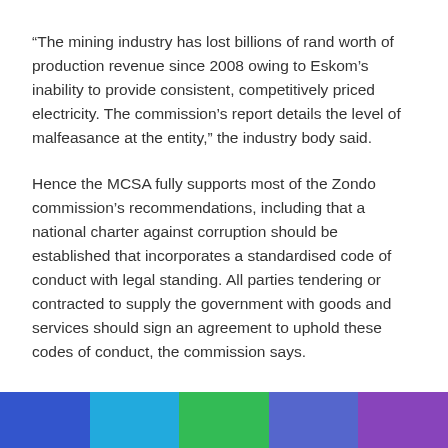“The mining industry has lost billions of rand worth of production revenue since 2008 owing to Eskom’s inability to provide consistent, competitively priced electricity. The commission’s report details the level of malfeasance at the entity,” the industry body said.
Hence the MCSA fully supports most of the Zondo commission’s recommendations, including that a national charter against corruption should be established that incorporates a standardised code of conduct with legal standing. All parties tendering or contracted to supply the government with goods and services should sign an agreement to uphold these codes of conduct, the commission says.
[Figure (other): Decorative color bar at page bottom with four colored segments: blue, cyan/teal, green, and purple.]